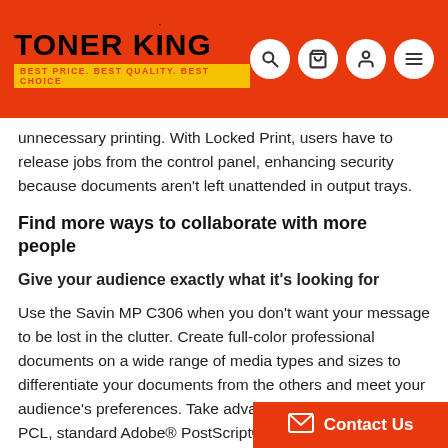TONER KING — BEST PRICE. BEST QUALITY. BEST CHOICE.
unnecessary printing. With Locked Print, users have to release jobs from the control panel, enhancing security because documents aren't left unattended in output trays.
Find more ways to collaborate with more people
Give your audience exactly what it's looking for
Use the Savin MP C306 when you don't want your message to be lost in the clutter. Create full-color professional documents on a wide range of media types and sizes to differentiate your documents from the others and meet your audience's preferences. Take advantage of the easy-to-use PCL, standard Adobe® PostScript® 3™ and other print streams to produce compelling color documents with 1200 x 1200 dpi resolution job after job. And, with PDF... can help relieve network congestion by...